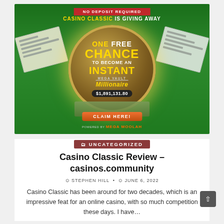[Figure (illustration): Casino Classic advertisement banner on green background. Red ribbon at top reads 'NO DEPOSIT REQUIRED'. Text reads 'CASINO CLASSIC IS GIVING AWAY'. Large gold vault circle in center with text 'ONE FREE CHANCE TO BECOME AN INSTANT MEGA VAULT MILLIONAIRE $1,891,131.80'. Large bank checks on either side. Gold bars and cash piles at bottom. Orange 'CLAIM HERE!' button. Powered by MEGA MOOLAH logo at bottom.]
UNCATEGORIZED
Casino Classic Review – casinos.community
@ STEPHEN HILL  •  © JUNE 6, 2022
Casino Classic has been around for two decades, which is an impressive feat for an online casino, with so much competition these days. I have…